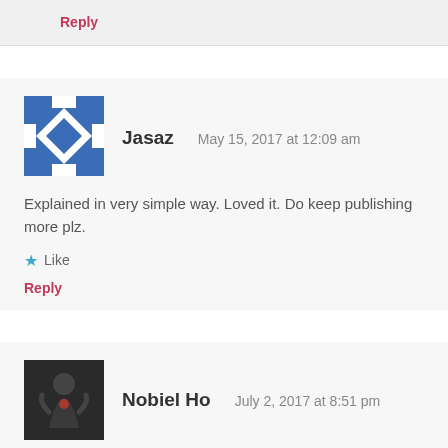Reply
[Figure (illustration): Blue and white geometric pattern avatar for user Jasaz]
Jasaz   May 15, 2017 at 12:09 am
Explained in very simple way. Loved it. Do keep publishing more plz.
★ Like
Reply
[Figure (photo): Dark avatar image showing a silhouette figure for user Nobiel Ho]
Nobiel Ho   July 2, 2017 at 8:51 pm
Great article and very helpful. Thank you!